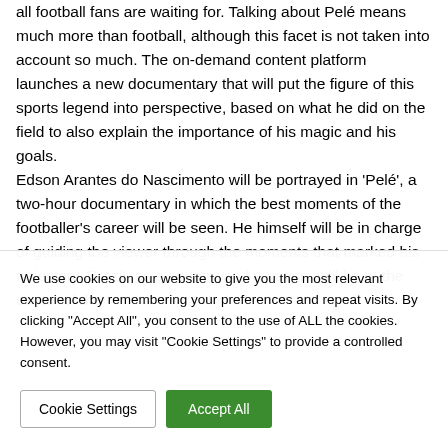all football fans are waiting for. Talking about Pelé means much more than football, although this facet is not taken into account so much. The on-demand content platform launches a new documentary that will put the figure of this sports legend into perspective, based on what he did on the field to also explain the importance of his magic and his goals.
Edson Arantes do Nascimento will be portrayed in 'Pelé', a two-hour documentary in which the best moments of the footballer's career will be seen. He himself will be in charge of guiding the viewer through the moments that marked his trajectory. Brazil, as a country and a nation, will be at the center of the...
We use cookies on our website to give you the most relevant experience by remembering your preferences and repeat visits. By clicking "Accept All", you consent to the use of ALL the cookies. However, you may visit "Cookie Settings" to provide a controlled consent.